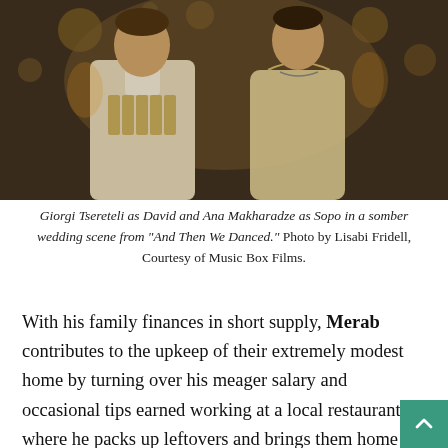[Figure (photo): A man in traditional Georgian dress (chokha) and a woman in a white dress stand together in a dimly lit, warm-toned wedding scene.]
Giorgi Tsereteli as David and Ana Makharadze as Sopo in a somber wedding scene from "And Then We Danced." Photo by Lisabi Fridell, Courtesy of Music Box Films.
With his family finances in short supply, Merab contributes to the upkeep of their extremely modest home by turning over his meager salary and occasional tips earned working at a local restaurant where he packs up leftovers and brings them home for dinner.  His grandmother basically runs the household as his mother sleeps away most of the day.  Although there is almost abject poverty, the family dynamic is warm, affectionate, and supportive.  With their electricity turned off because of lack of payment, in what David considers a grand gesture, he arrives home with enough cash to turn the lights back on, but the source of this income is dubious.  Eventually, he is forced int